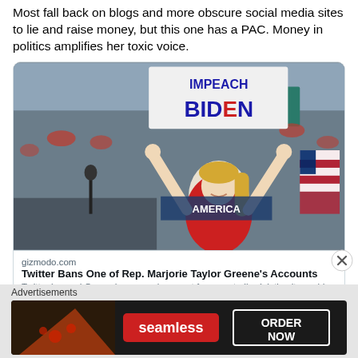Most fall back on blogs and more obscure social media sites to lie and raise money, but this one has a PAC. Money in politics amplifies her toxic voice.
[Figure (photo): Woman in red shirt holding an 'IMPEACH BIDEN' sign at a political rally with crowd in background]
gizmodo.com
Twitter Bans One of Rep. Marjorie Taylor Greene's Accounts
Twitter banned Greene's personal account for repeatedly violating its covid-19 misinformation policy. However, it took no action on her congressional account.
11:32 AM · Jan 8, 2022 · Twitter Web App
19 Retweets   73 Likes
Advertisements
[Figure (photo): Seamless food delivery advertisement banner with pizza image and 'ORDER NOW' button]